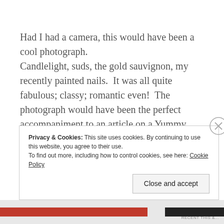Had I had a camera, this would have been a cool photograph. Candlelight, suds, the gold sauvignon, my recently painted nails.  It was all quite fabulous; classy; romantic even!  The photograph would have been the perfect accompaniment to an article on a Yummy Mummy, or indeed a perfect pamper evening.
Privacy & Cookies: This site uses cookies. By continuing to use this website, you agree to their use. To find out more, including how to control cookies, see here: Cookie Policy
Close and accept